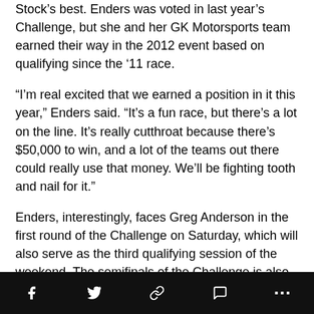Stock's best. Enders was voted in last year's Challenge, but she and her GK Motorsports team earned their way in the 2012 event based on qualifying since the '11 race.
“I’m real excited that we earned a position in it this year,” Enders said. “It’s a fun race, but there’s a lot on the line. It’s really cutthroat because there’s $50,000 to win, and a lot of the teams out there could really use that money. We’ll be fighting tooth and nail for it.”
Enders, interestingly, faces Greg Anderson in the first round of the Challenge on Saturday, which will also serve as the third qualifying session of the weekend. The semifinals of the Challenge is also Q4, with the finals slated for 2:50 p.m. Eastern.
(Photos courtesy NHRA/National Dragster)
Social share bar with icons: Facebook, Twitter, Link, Comment, More